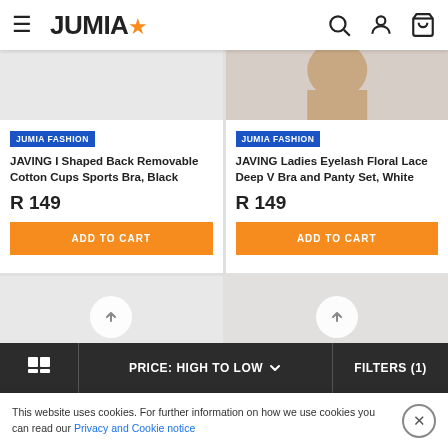JUMIA
[Figure (screenshot): Jumia e-commerce product listing page showing two product cards: JAVING I Shaped Back Removable Cotton Cups Sports Bra Black at R149 and JAVING Ladies Eyelash Floral Lace Deep V Bra and Panty Set White at R149, both with ADD TO CART buttons. Bottom toolbar with grid icon, PRICE: HIGH TO LOW sort, and FILTERS (1). Cookie consent notice at bottom.]